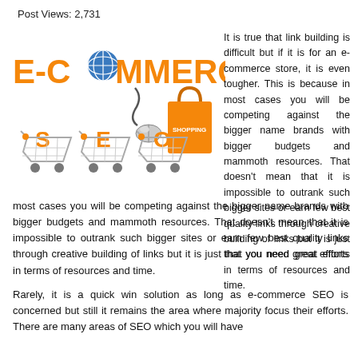Post Views: 2,731
[Figure (illustration): E-Commerce SEO illustration showing orange 'E-COMMERCE' text with a globe replacing the letter O, a computer mouse, three shopping carts labeled S, E, O, and an orange shopping bag labeled SHOPPING]
It is true that link building is difficult but if it is for an e-commerce store, it is even tougher. This is because in most cases you will be competing against the bigger name brands with bigger budgets and mammoth resources. That doesn't mean that it is impossible to outrank such bigger sites or earn few best quality links through creative building of links but it is just that you need great efforts in terms of resources and time.
Rarely, it is a quick win solution as long as e-commerce SEO is concerned but still it remains the area where majority focus their efforts. There are many areas of SEO which you will have